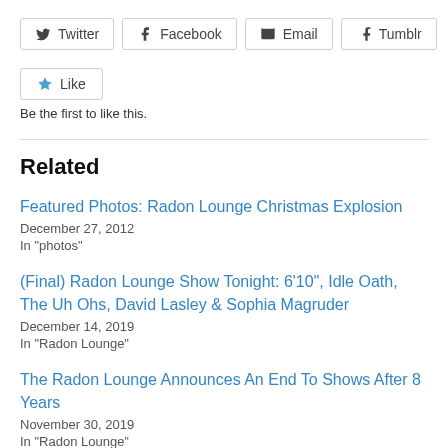[Figure (other): Social share buttons: Twitter, Facebook, Email, Tumblr]
[Figure (other): Like button with star icon and 'Be the first to like this.' text below]
Related
Featured Photos: Radon Lounge Christmas Explosion
December 27, 2012
In "photos"
(Final) Radon Lounge Show Tonight: 6'10", Idle Oath, The Uh Ohs, David Lasley & Sophia Magruder
December 14, 2019
In "Radon Lounge"
The Radon Lounge Announces An End To Shows After 8 Years
November 30, 2019
In "Radon Lounge"